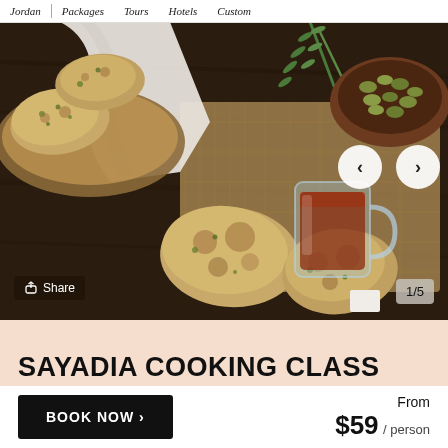Jordan | Packages | Tours | Hotels | Custom
[Figure (photo): Overhead view of flatbread/biscuits in a basket with white cloth, rosemary sprigs, a wooden bowl of green olives, and a glass mug of dark tea on a woven mat and dark wooden surface. Navigation arrows and share/counter badges overlaid.]
SAYADIA COOKING CLASS WITH A LOCAL IN AQABA
BOOK NOW ›
From $59 / person